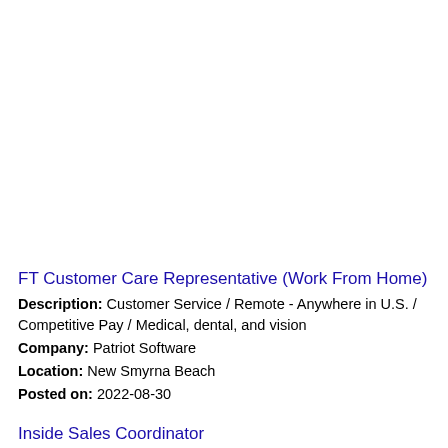FT Customer Care Representative (Work From Home)
Description: Customer Service / Remote - Anywhere in U.S. / Competitive Pay / Medical, dental, and vision
Company: Patriot Software
Location: New Smyrna Beach
Posted on: 2022-08-30
Inside Sales Coordinator
Description: POLN8 powered by 420 Financial is an experienced and growing fintech and marketing company with an exciting new opportunity near you. We are currently in search of